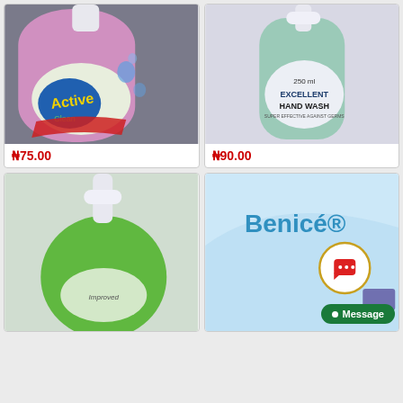[Figure (photo): Active Clean hand wash bottle with pink liquid, blue and yellow branding label]
₦75.00
[Figure (photo): Excellent Hand Wash 250ml bottle with green liquid and pump dispenser]
₦90.00
[Figure (photo): Green liquid hand wash bottle with pump dispenser, Improved label]
[Figure (photo): Benice brand hand wash product advertisement with light blue background]
Message